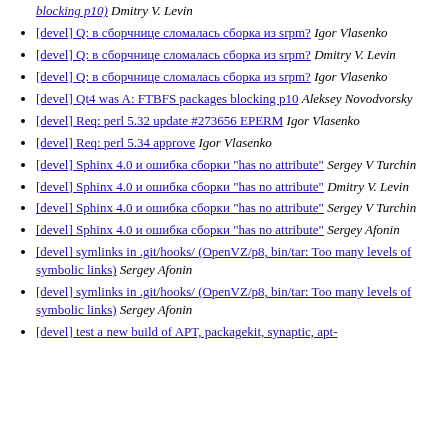blocking p10) Dmitry V. Levin
[devel] Q: в сборчнице сломалась сборка из srpm? Igor Vlasenko
[devel] Q: в сборчнице сломалась сборка из srpm? Dmitry V. Levin
[devel] Q: в сборчнице сломалась сборка из srpm? Igor Vlasenko
[devel] Qt4 was A: FTBFS packages blocking p10 Aleksey Novodvorsky
[devel] Req: perl 5.32 update #273656 EPERM Igor Vlasenko
[devel] Req: perl 5.34 approve Igor Vlasenko
[devel] Sphinx 4.0 и ошибка сборки "has no attribute" Sergey V Turchin
[devel] Sphinx 4.0 и ошибка сборки "has no attribute" Dmitry V. Levin
[devel] Sphinx 4.0 и ошибка сборки "has no attribute" Sergey V Turchin
[devel] Sphinx 4.0 и ошибка сборки "has no attribute" Sergey Afonin
[devel] symlinks in .git/hooks/ (OpenVZ/p8, bin/tar: Too many levels of symbolic links) Sergey Afonin
[devel] symlinks in .git/hooks/ (OpenVZ/p8, bin/tar: Too many levels of symbolic links) Sergey Afonin
[devel] test a new build of APT, packagekit, synaptic, apt-...